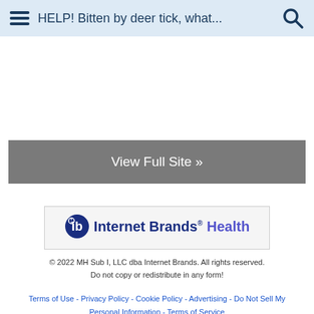HELP! Bitten by deer tick, what...
View Full Site »
[Figure (logo): Internet Brands Health logo with 'ib' icon in blue circle and text 'Internet Brands® Health']
© 2022 MH Sub I, LLC dba Internet Brands. All rights reserved. Do not copy or redistribute in any form!
Terms of Use - Privacy Policy - Cookie Policy - Advertising - Do Not Sell My Personal Information - Terms of Service